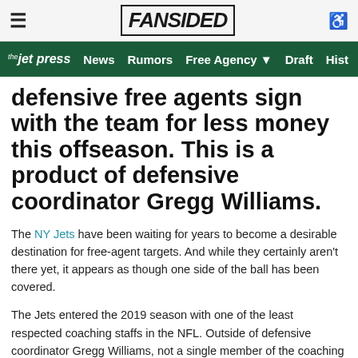≡ FANSIDED ♿
the jet press  News  Rumors  Free Agency ▼  Draft  Hist
defensive free agents sign with the team for less money this offseason. This is a product of defensive coordinator Gregg Williams.
The NY Jets have been waiting for years to become a desirable destination for free-agent targets. And while they certainly aren't there yet, it appears as though one side of the ball has been covered.
The Jets entered the 2019 season with one of the least respected coaching staffs in the NFL. Outside of defensive coordinator Gregg Williams, not a single member of the coaching staff had any prior head-coaching experience at either the collegiate or NFL level.